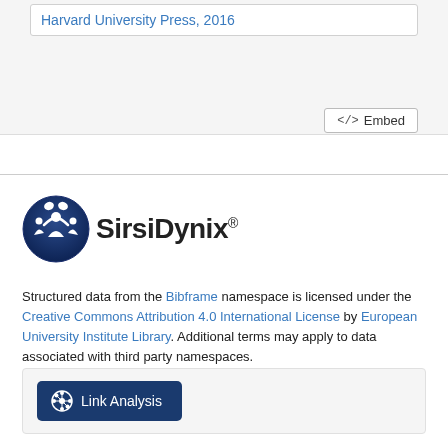Harvard University Press, 2016
<> Embed
[Figure (logo): SirsiDynix logo with blue circular icon and bold SirsiDynix text]
Structured data from the Bibframe namespace is licensed under the Creative Commons Attribution 4.0 International License by European University Institute Library. Additional terms may apply to data associated with third party namespaces.
Link Analysis